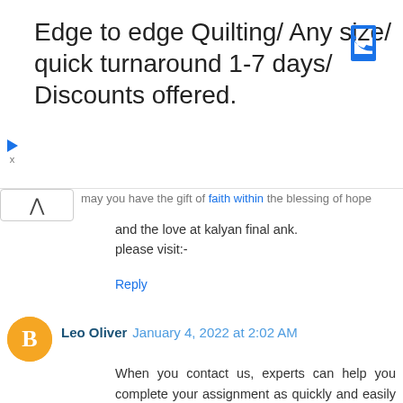[Figure (other): Advertisement banner: Edge to edge Quilting/ Any size/ quick turnaround 1-7 days/ Discounts offered. With phone icon top right and ad icons bottom left.]
and the love at kalyan final ank.
please visit:-
Reply
Leo Oliver  January 4, 2022 at 2:02 AM
When you contact us, experts can help you complete your assignment as quickly and easily as needed. They are available to assist students with their assignments at all the time. They are masters with a lot of expertise and understanding. Students can get the greatest possible grade in their studies and complete their work with the assistance of subject experts. Visit now :- Online Assignment Help
Reply